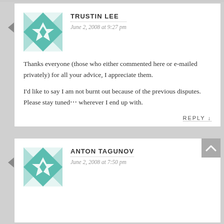[Figure (illustration): Teal geometric quilt-pattern avatar for Trustin Lee]
TRUSTIN LEE
June 2, 2008 at 9:27 pm
Thanks everyone (those who either commented here or e-mailed privately) for all your advice, I appreciate them.
I'd like to say I am not burnt out because of the previous disputes. Please stay tuned… wherever I end up with.
REPLY ↓
[Figure (illustration): Teal geometric quilt-pattern avatar for Anton Tagunov]
ANTON TAGUNOV
June 2, 2008 at 7:50 pm